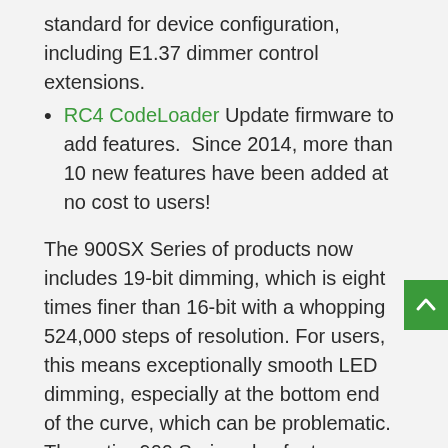standard for device configuration, including E1.37 dimmer control extensions.
RC4 CodeLoader Update firmware to add features.  Since 2014, more than 10 new features have been added at no cost to users!
The 900SX Series of products now includes 19-bit dimming, which is eight times finer than 16-bit with a whopping 524,000 steps of resolution. For users, this means exceptionally smooth LED dimming, especially at the bottom end of the curve, which can be problematic. The entire 900 Series also features